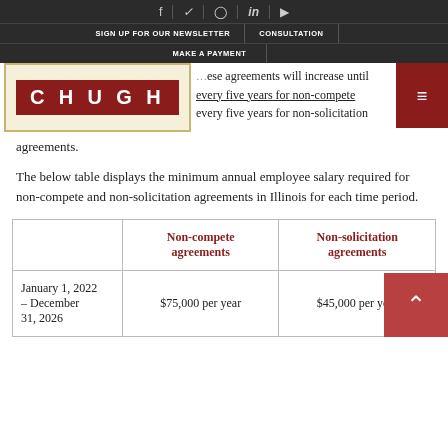SIGN UP FOR OUR NEWSLETTER | CONSULTATION | MAKE A PAYMENT
[Figure (logo): CHUGH law firm logo — red rectangle with white bold text 'CHUGH']
these agreements will increase until every five years for non-compete agreements, representing every five years for non-solicitation agreements.
The below table displays the minimum annual employee salary required for non-compete and non-solicitation agreements in Illinois for each time period.
|  | Non-compete agreements | Non-solicitation agreements |
| --- | --- | --- |
| January 1, 2022 – December 31, 2026 | $75,000 per year | $45,000 per year |